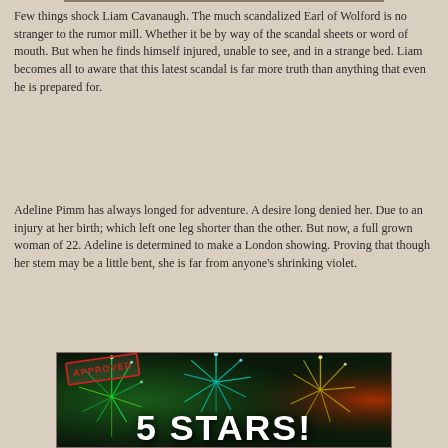Few things shock Liam Cavanaugh. The much scandalized Earl of Wolford is no stranger to the rumor mill. Whether it be by way of the scandal sheets or word of mouth. But when he finds himself injured, unable to see, and in a strange bed. Liam becomes all to aware that this latest scandal is far more truth than anything that even he is prepared for.
Adeline Pimm has always longed for adventure. A desire long denied her. Due to an injury at her birth; which left one leg shorter than the other. But now, a full grown woman of 22. Adeline is determined to make a London showing. Proving that though her stem may be a little bent, she is far from anyone's shrinking violet.
[Figure (illustration): A '5 STARS!' approval graphic with colorful fireworks background, an 'APPROVED' red stamp overlay in the top left, and bold white text reading '5 STARS!' in the center.]